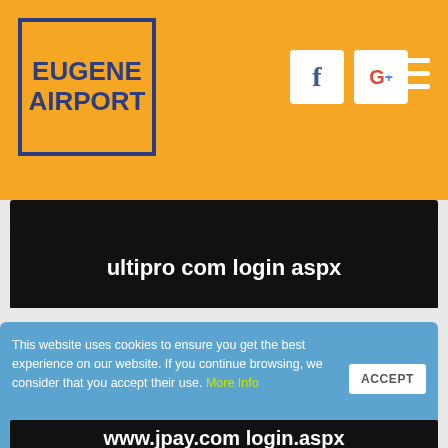[Figure (logo): Eugene Airport logo — dark blue bold text on orange background inside a dark blue border rectangle]
[Figure (screenshot): Facebook icon (f) in white box and Google+ icon (G+) in white box, social media links in header]
[Figure (other): Hamburger menu icon (three white horizontal lines) in orange header]
ultipro com login aspx
n32.ultipro.com/login.aspx
This website uses cookies to ensure you get the best experience on our website. If you continue browsing, we consider that you accept their use. More Info
ACCEPT
www.jpay.com login.aspx